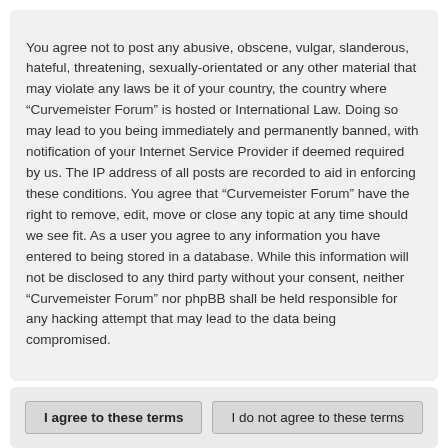You agree not to post any abusive, obscene, vulgar, slanderous, hateful, threatening, sexually-orientated or any other material that may violate any laws be it of your country, the country where “Curvemeister Forum” is hosted or International Law. Doing so may lead to you being immediately and permanently banned, with notification of your Internet Service Provider if deemed required by us. The IP address of all posts are recorded to aid in enforcing these conditions. You agree that “Curvemeister Forum” have the right to remove, edit, move or close any topic at any time should we see fit. As a user you agree to any information you have entered to being stored in a database. While this information will not be disclosed to any third party without your consent, neither “Curvemeister Forum” nor phpBB shall be held responsible for any hacking attempt that may lead to the data being compromised.
I agree to these terms | I do not agree to these terms
Board index / Contact us / ≡
Powered by phpBB® Forum Software © phpBB Limited Color scheme created with Colorize It. Style we_universal created by INVENTEA